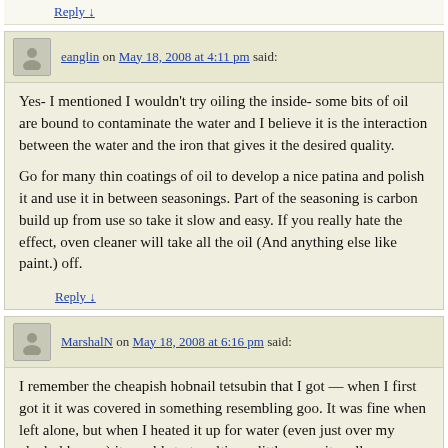Reply ↓
eanglin on May 18, 2008 at 4:11 pm said:
Yes- I mentioned I wouldn't try oiling the inside- some bits of oil are bound to contaminate the water and I believe it is the interaction between the water and the iron that gives it the desired quality.
Go for many thin coatings of oil to develop a nice patina and polish it and use it in between seasonings. Part of the seasoning is carbon build up from use so take it slow and easy. If you really hate the effect, oven cleaner will take all the oil (And anything else like paint.) off.
Reply ↓
MarshalN on May 18, 2008 at 6:16 pm said:
I remember the cheapish hobnail tetsubin that I got — when I first got it it was covered in something resembling goo. It was fine when left alone, but when I heated it up for water (even just over my alcohol burner) it would start melting a little — so it really